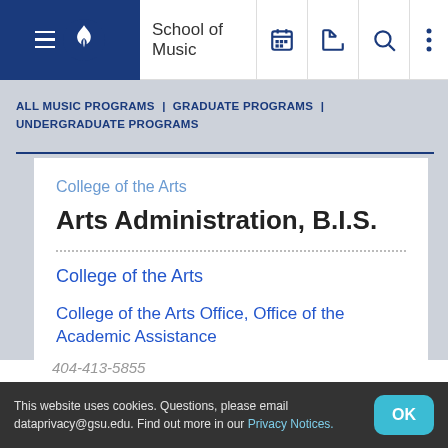School of Music
ALL MUSIC PROGRAMS | GRADUATE PROGRAMS | UNDERGRADUATE PROGRAMS
College of the Arts
Arts Administration, B.I.S.
College of the Arts
College of the Arts Office, Office of the Academic Assistance
404-413-5855
This website uses cookies. Questions, please email dataprivacy@gsu.edu. Find out more in our Privacy Notices.